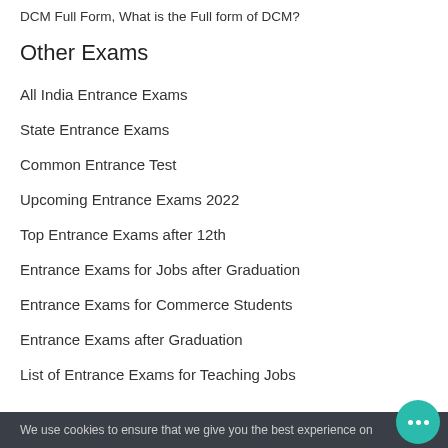DCM Full Form, What is the Full form of DCM?
Other Exams
All India Entrance Exams
State Entrance Exams
Common Entrance Test
Upcoming Entrance Exams 2022
Top Entrance Exams after 12th
Entrance Exams for Jobs after Graduation
Entrance Exams for Commerce Students
Entrance Exams after Graduation
List of Entrance Exams for Teaching Jobs
We use cookies to ensure that we give you the best experience on